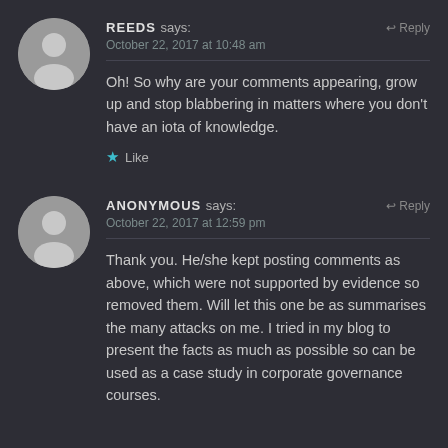REEDS says: October 22, 2017 at 10:48 am
Oh! So why are your comments appearing, grow up and stop blabbering in matters where you don't have an iota of knowledge.
Like
ANONYMOUS says: October 22, 2017 at 12:59 pm
Thank you. He/she kept posting comments as above, which were not supported by evidence so removed them. Will let this one be as summarises the many attacks on me. I tried in my blog to present the facts as much as possible so can be used as a case study in corporate governance courses.